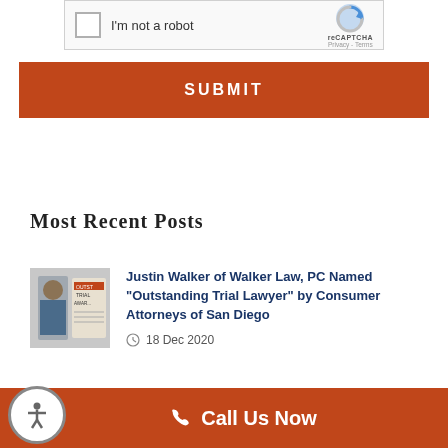[Figure (other): reCAPTCHA widget with checkbox labeled I'm not a robot, reCAPTCHA logo, Privacy and Terms links]
SUBMIT
Most Recent Posts
[Figure (photo): Thumbnail photo of Justin Walker with Outstanding Trial Lawyer Award certificate/banner visible beside him]
Justin Walker of Walker Law, PC Named "Outstanding Trial Lawyer" by Consumer Attorneys of San Diego
18 Dec 2020
Call Us Now